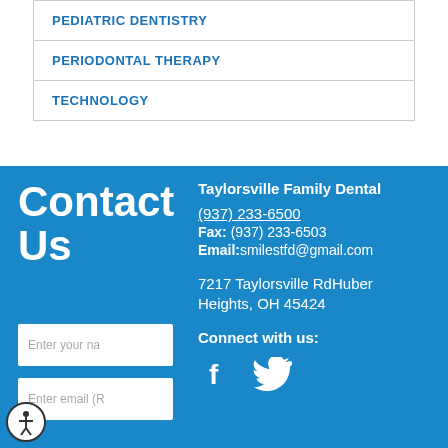PEDIATRIC DENTISTRY
PERIODONTAL THERAPY
TECHNOLOGY
Contact Us
Taylorsville Family Dental
(937) 233-6500
Fax: (937) 233-6503
Email:smilestfd@gmail.com
7217 Taylorsville RdHuber Heights, OH 45424
Connect with us:
Enter your na
Enter email (R